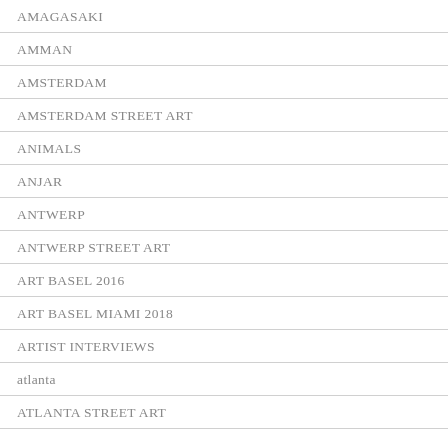AMAGASAKI
AMMAN
AMSTERDAM
AMSTERDAM STREET ART
ANIMALS
ANJAR
ANTWERP
ANTWERP STREET ART
ART BASEL 2016
ART BASEL MIAMI 2018
ARTIST INTERVIEWS
atlanta
ATLANTA STREET ART